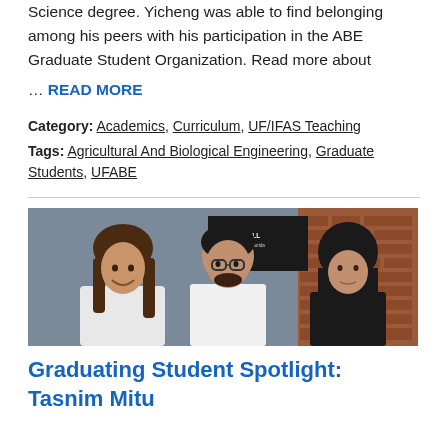Science degree. Yicheng was able to find belonging among his peers with his participation in the ABE Graduate Student Organization. Read more about
… READ MORE
Category: Academics, Curriculum, UF/IFAS Teaching
Tags: Agricultural And Biological Engineering, Graduate Students, UFABE
[Figure (photo): Three people standing together in front of Rogers Hall for the University of Florida sign and a brick wall. A smiling young woman on the left, a man with glasses and beard in the center wearing a white shirt, and a woman in a black hijab on the right.]
Graduating Student Spotlight: Tasnim Mitu